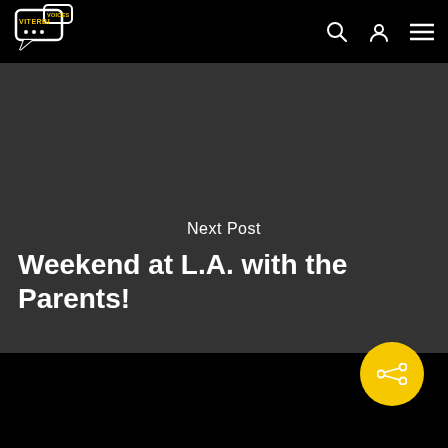[Figure (logo): Viterbi Voices logo — two speech bubbles with text VITERBI and VOICES on black background]
Next Post
Weekend at L.A. with the Parents!